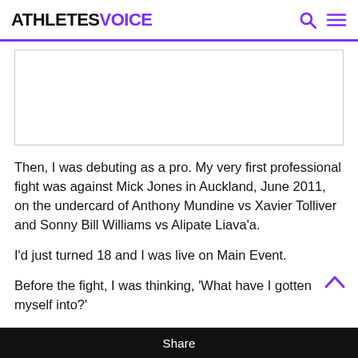ATHLETES VOICE
[Figure (other): Advertisement placeholder box]
Then, I was debuting as a pro. My very first professional fight was against Mick Jones in Auckland, June 2011, on the undercard of Anthony Mundine vs Xavier Tolliver and Sonny Bill Williams vs Alipate Liava'a.
I'd just turned 18 and I was live on Main Event.
Before the fight, I was thinking, 'What have I gotten myself into?'
The nerves hit you. Hard. When the time came, all I could say was, 'Too late now', and out I walked.
Share